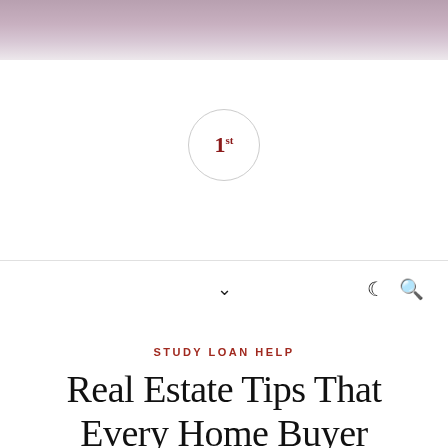[Figure (photo): Photo strip at top of page showing people, muted purple/mauve tones, partially cropped]
[Figure (logo): Circular logo with '1st' text in dark red serif font inside a light circle outline]
Navigation bar with chevron/dropdown icon and moon and search icons on the right
STUDY LOAN HELP
Real Estate Tips That Every Home Buyer Should Know